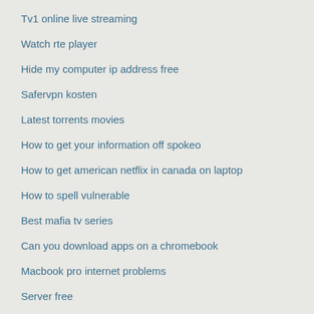Free watch non of movies
Tv1 online live streaming
Watch rte player
Hide my computer ip address free
Safervpn kosten
Latest torrents movies
How to get your information off spokeo
How to get american netflix in canada on laptop
How to spell vulnerable
Best mafia tv series
Can you download apps on a chromebook
Macbook pro internet problems
Server free
Erase viewing history
Best seedbox providers